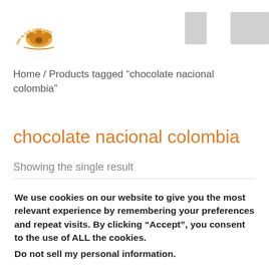[Figure (logo): 100% Colombiano circular logo with orange decorative arch and cacao imagery]
Home / Products tagged “chocolate nacional colombia”
chocolate nacional colombia
Showing the single result
We use cookies on our website to give you the most relevant experience by remembering your preferences and repeat visits. By clicking “Accept”, you consent to the use of ALL the cookies.
Do not sell my personal information.
Cookie Settings
Accept